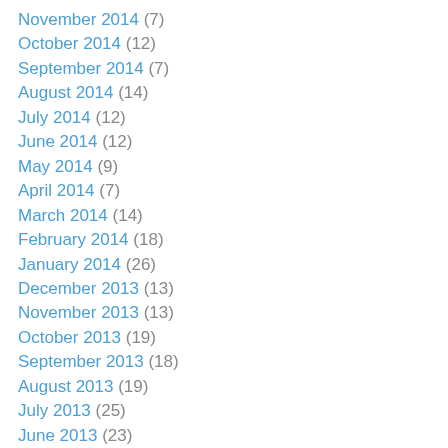November 2014 (7)
October 2014 (12)
September 2014 (7)
August 2014 (14)
July 2014 (12)
June 2014 (12)
May 2014 (9)
April 2014 (7)
March 2014 (14)
February 2014 (18)
January 2014 (26)
December 2013 (13)
November 2013 (13)
October 2013 (19)
September 2013 (18)
August 2013 (19)
July 2013 (25)
June 2013 (23)
May 2013 (21)
April 2013 (19)